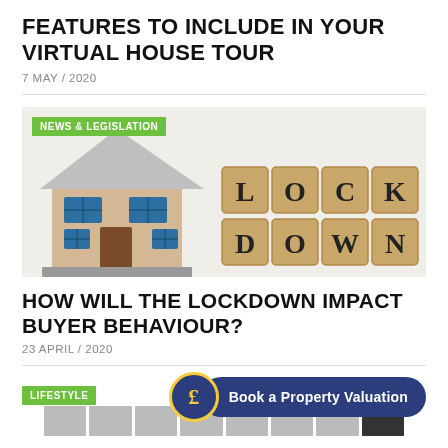FEATURES TO INCLUDE IN YOUR VIRTUAL HOUSE TOUR
7 MAY / 2020
[Figure (photo): A miniature model house on the left and wooden letter blocks spelling LOCKDOWN on the right, on a white background. Green badge reads NEWS & LEGISLATION.]
HOW WILL THE LOCKDOWN IMPACT BUYER BEHAVIOUR?
23 APRIL / 2020
LIFESTYLE
Book a Property Valuation